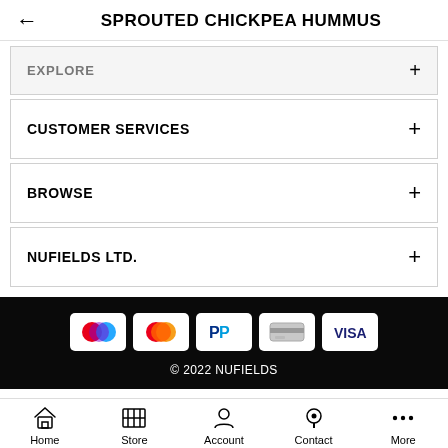SPROUTED CHICKPEA HUMMUS
EXPLORE
CUSTOMER SERVICES
BROWSE
NUFIELDS LTD.
[Figure (screenshot): Payment method icons: custom circles, Mastercard, PayPal, generic card, Visa]
© 2022 NUFIELDS
Home  Store  Account  Contact  More